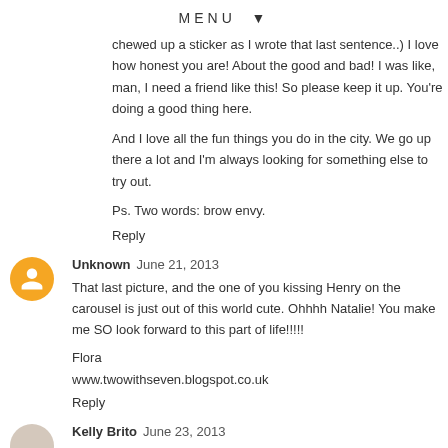MENU ▼
chewed up a sticker as I wrote that last sentence..) I love how honest you are! About the good and bad! I was like, man, I need a friend like this! So please keep it up. You're doing a good thing here.
And I love all the fun things you do in the city. We go up there a lot and I'm always looking for something else to try out.
Ps. Two words: brow envy.
Reply
Unknown  June 21, 2013
That last picture, and the one of you kissing Henry on the carousel is just out of this world cute. Ohhhh Natalie! You make me SO look forward to this part of life!!!!!
Flora
www.twowithseven.blogspot.co.uk
Reply
Kelly Brito  June 23, 2013